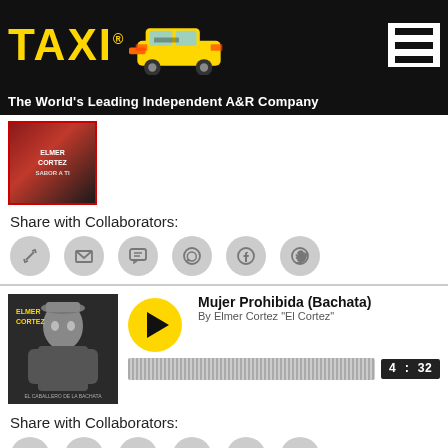[Figure (logo): TAXI logo with yellow taxi car image on black background, hamburger menu icon top right]
The World's Leading Independent A&R Company
[Figure (photo): Album cover showing Elmer Cortez Sabor a Ti text on red background]
Share with Collaborators:
[Figure (infographic): Row of 6 social share icon circles (copy link, email, SMS, WhatsApp, Facebook, Twitter)]
[Figure (photo): Album art showing Elmer Cortez El Caballero de la Bachata artist photo]
Mujer Prohibida (Bachata)
By Elmer Cortez "El Cortez"
[Figure (infographic): Audio waveform player showing 4:32 duration]
Share with Collaborators:
[Figure (infographic): Row of 6 social share icon circles (copy link, email, SMS, WhatsApp, Facebook, Twitter)]
Mujeres (Balada Ranchera)